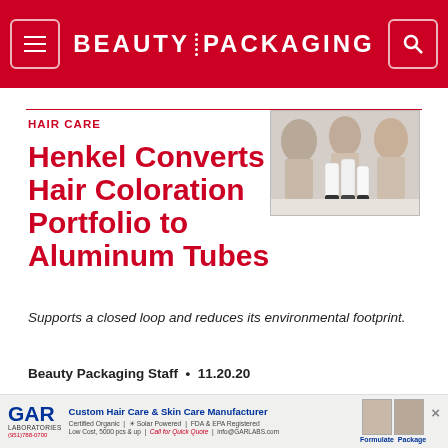BEAUTY PACKAGING
HAIR CARE
[Figure (photo): White hair care product tubes with models in the background]
Henkel Converts Hair Coloration Portfolio to Aluminum Tubes
Supports a closed loop and reduces its environmental footprint.
Beauty Packaging Staff • 11.20.20
[Figure (infographic): GAR Laboratories advertisement banner: Custom Hair Care & Skin Care Manufacturer. Certified Organic | O Solar Powered | FDA & EPA Registered. Low Cost, 5000 pcs & up | Call for Quick Quote | info@GARLABS.com. Formulate Package.]